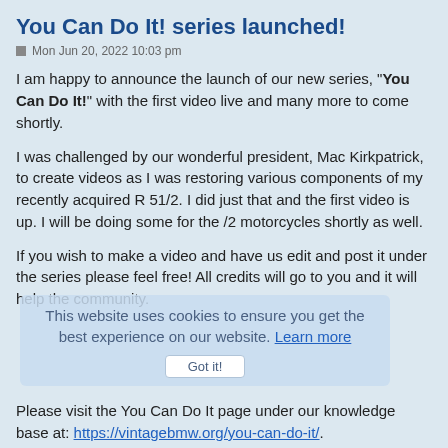You Can Do It! series launched!
Mon Jun 20, 2022 10:03 pm
I am happy to announce the launch of our new series, "You Can Do It!" with the first video live and many more to come shortly.
I was challenged by our wonderful president, Mac Kirkpatrick, to create videos as I was restoring various components of my recently acquired R 51/2. I did just that and the first video is up. I will be doing some for the /2 motorcycles shortly as well.
If you wish to make a video and have us edit and post it under the series please feel free! All credits will go to you and it will help the community.
Please visit the You Can Do It page under our knowledge base at: https://vintagebmw.org/you-can-do-it/.
Any comments or critiques are very welcome, it is the first video and I am sure they will get better over time.